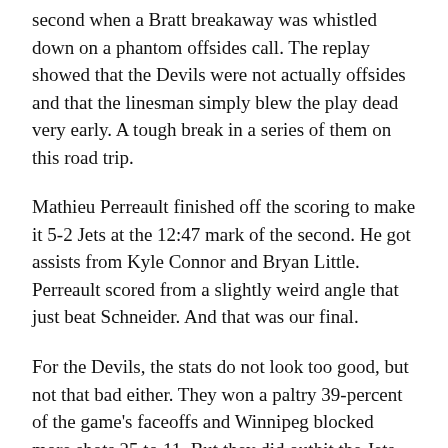second when a Bratt breakaway was whistled down on a phantom offsides call. The replay showed that the Devils were not actually offsides and that the linesman simply blew the play dead very early. A tough break in a series of them on this road trip.
Mathieu Perreault finished off the scoring to make it 5-2 Jets at the 12:47 mark of the second. He got assists from Kyle Connor and Bryan Little. Perreault scored from a slightly weird angle that just beat Schneider. And that was our final.
For the Devils, the stats do not look too good, but not that bad either. They won a paltry 39-percent of the game's faceoffs and Winnipeg blocked more shots 25 to 11. But they did outhit the Jets, 23 to 20 and had less giveaways (17 for the Jets and just nine for New Jersey).
Individually, Sami Vatanen had the most ice time with